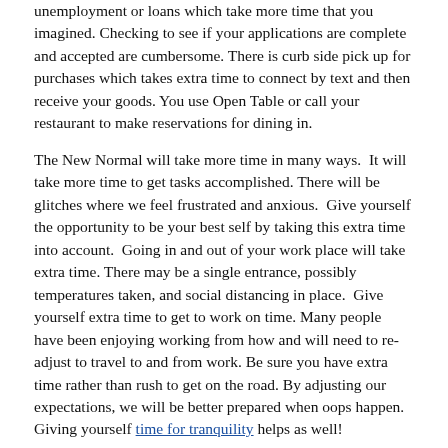unemployment or loans which take more time that you imagined. Checking to see if your applications are complete and accepted are cumbersome. There is curb side pick up for purchases which takes extra time to connect by text and then receive your goods. You use Open Table or call your restaurant to make reservations for dining in.
The New Normal will take more time in many ways. It will take more time to get tasks accomplished. There will be glitches where we feel frustrated and anxious. Give yourself the opportunity to be your best self by taking this extra time into account. Going in and out of your work place will take extra time. There may be a single entrance, possibly temperatures taken, and social distancing in place. Give yourself extra time to get to work on time. Many people have been enjoying working from how and will need to re-adjust to travel to and from work. Be sure you have extra time rather than rush to get on the road. By adjusting our expectations, we will be better prepared when oops happen. Giving yourself time for tranquility helps as well!